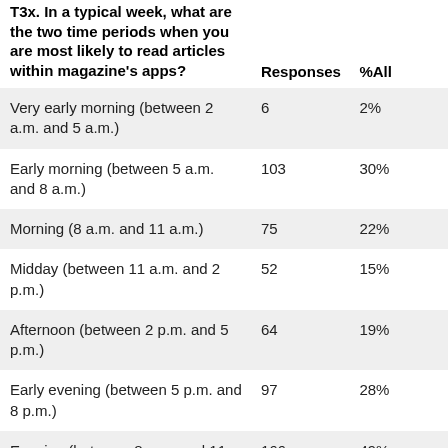| T3x. In a typical week, what are the two time periods when you are most likely to read articles within magazine's apps? | Responses | %All |
| --- | --- | --- |
| Very early morning (between 2 a.m. and 5 a.m.) | 6 | 2% |
| Early morning (between 5 a.m. and 8 a.m.) | 103 | 30% |
| Morning (8 a.m. and 11 a.m.) | 75 | 22% |
| Midday (between 11 a.m. and 2 p.m.) | 52 | 15% |
| Afternoon (between 2 p.m. and 5 p.m.) | 64 | 19% |
| Early evening (between 5 p.m. and 8 p.m.) | 97 | 28% |
| Evening (between 8 p.m. and 11 p.m.) | 166 | 49% |
| Late evening (between 11 | 51 | 15% |